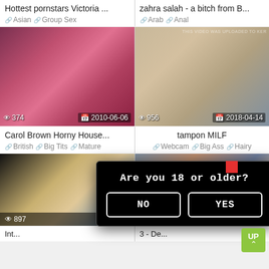Hottest pornstars Victoria ...
zahra salah - a bitch from B...
Asian  Group Sex
Arab  Anal
[Figure (photo): Thumbnail image left 1, view count 374, date 2010-06-06]
[Figure (photo): Thumbnail image right 1, view count 956, date 2018-04-14]
Carol Brown Horny House...
tampon MILF
British  Big Tits  Mature
Webcam  Big Ass  Hairy
[Figure (photo): Bottom left thumbnail, view count 897]
[Figure (photo): Bottom right thumbnail]
Int...
3 - De...
Are you 18 or older?
NO
YES